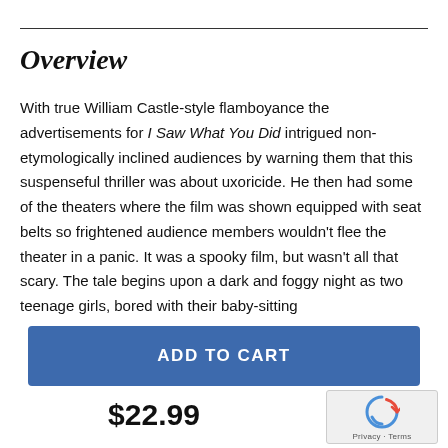Overview
With true William Castle-style flamboyance the advertisements for I Saw What You Did intrigued non-etymologically inclined audiences by warning them that this suspenseful thriller was about uxoricide. He then had some of the theaters where the film was shown equipped with seat belts so frightened audience members wouldn't flee the theater in a panic. It was a spooky film, but wasn't all that scary. The tale begins upon a dark and foggy night as two teenage girls, bored with their baby-sitting
ADD TO CART
$22.99